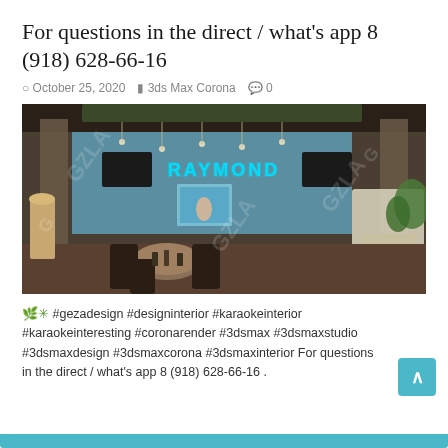For questions in the direct / what's app 8 (918) 628-66-16
October 25, 2020   3ds Max Corona   0
[Figure (photo): Interior render of a karaoke bar named RAYMOND with blue walls, hanging greenery ceiling, dark furniture, round tables, and a large tropical painting. Watermarked with GZLA logo.]
🌿✳ #gezadesign #designinterior #karaokeinterior #karaokeinteresting #coronarender #3dsmax #3dsmaxstudio #3dsmaxdesign #3dsmaxcorona #3dsmaxinterior For questions in the direct / what's app 8 (918) 628-66-16 .